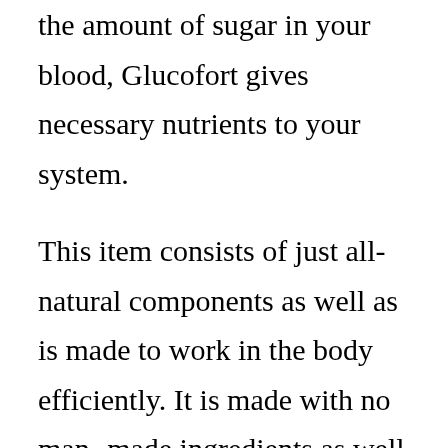the amount of sugar in your blood, Glucofort gives necessary nutrients to your system.
This item consists of just all-natural components as well as is made to work in the body efficiently. It is made with no man-made ingredients as well as is entirely risk-free to use over long-term. Glucofort should be taken by adults over 18 years of ages with food, as well as should not be boosted past the advised dosage. You ought to always check out the label prior to you begin taking a nutritional supplement. This will certainly assist you make a decision if